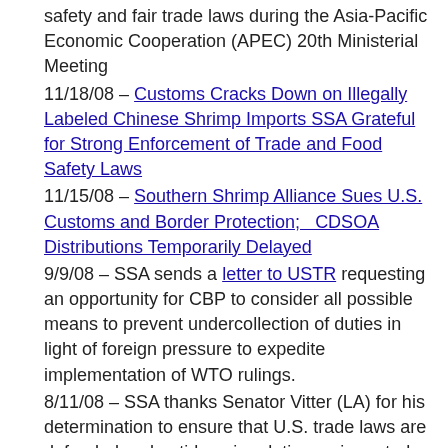safety and fair trade laws during the Asia-Pacific Economic Cooperation (APEC) 20th Ministerial Meeting
11/18/08 – Customs Cracks Down on Illegally Labeled Chinese Shrimp Imports SSA Grateful for Strong Enforcement of Trade and Food Safety Laws
11/15/08 – Southern Shrimp Alliance Sues U.S. Customs and Border Protection;  CDSOA Distributions Temporarily Delayed
9/9/08 – SSA sends a letter to USTR requesting an opportunity for CBP to consider all possible means to prevent undercollection of duties in light of foreign pressure to expedite implementation of WTO rulings.
8/11/08 – SSA thanks Senator Vitter (LA) for his determination to ensure that U.S. trade laws are defended and antidumping duties on imported shrimp are vigorously enforced in his August 8, 2008 letter to Department of Commerce Secretary Gutierrez and Customs and Border Protection Commissioner Basham.
7/23/08 – WTO Rules that US Cannot Take Effective